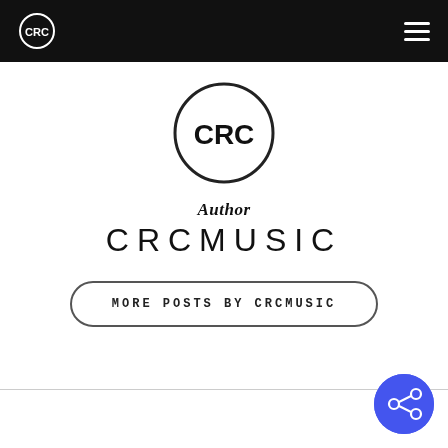CRC [logo] [hamburger menu]
[Figure (logo): CRC circular logo — black circle outline with bold CRC text inside, large version centered on page]
Author
CRCMUSIC
MORE POSTS BY CRCMUSIC
[Figure (logo): Share icon button — blue circle with share/network icon in white, bottom-right corner]